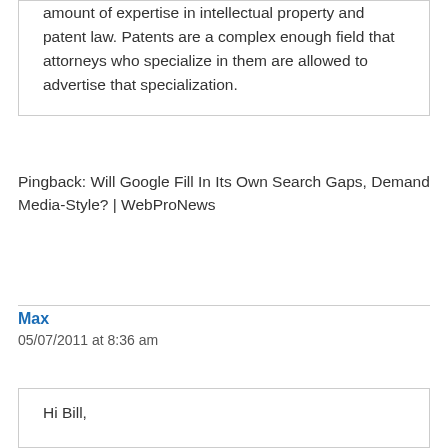amount of expertise in intellectual property and patent law. Patents are a complex enough field that attorneys who specialize in them are allowed to advertise that specialization.
Pingback: Will Google Fill In Its Own Search Gaps, Demand Media-Style? | WebProNews
Max
05/07/2011 at 8:36 am
Hi Bill,